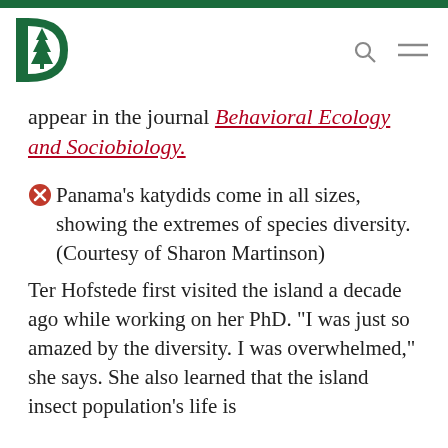[Figure (logo): Dartmouth College pine tree logo in green with letter D]
appear in the journal Behavioral Ecology and Sociobiology.
Panama’s katydids come in all sizes, showing the extremes of species diversity. (Courtesy of Sharon Martinson)
Ter Hofstede first visited the island a decade ago while working on her PhD. “I was just so amazed by the diversity. I was overwhelmed,” she says. She also learned that the island insect population’s life is